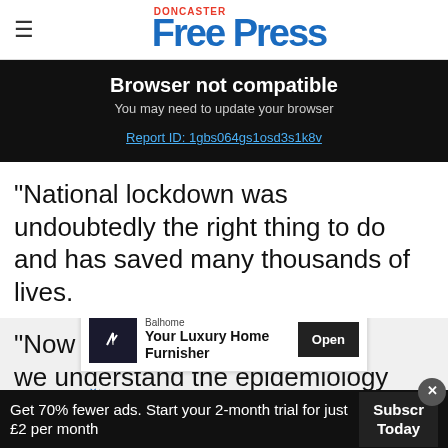Doncaster Free Press
Browser not compatible
You may need to update your browser
Report ID: 1gbs064gs1osd3s1k8v
“National lockdown was undoubtedly the right thing to do and has saved many thousands of lives.
“Now… we understand the epidemiology better and o…
[Figure (other): Advertisement: Balhome - Your Luxury Home Furnisher with Open button]
Get 70% fewer ads. Start your 2-month trial for just £2 per month
Subscribe Today